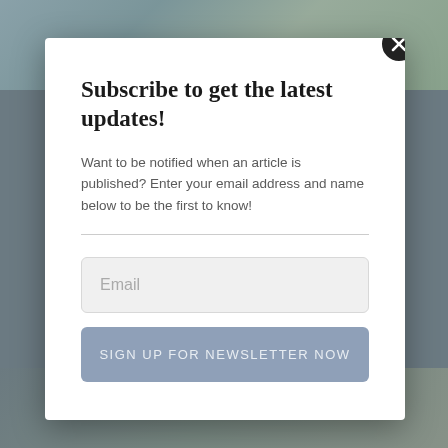Subscribe to get the latest updates!
Want to be notified when an article is published? Enter your email address and name below to be the first to know!
Email
SIGN UP FOR NEWSLETTER NOW